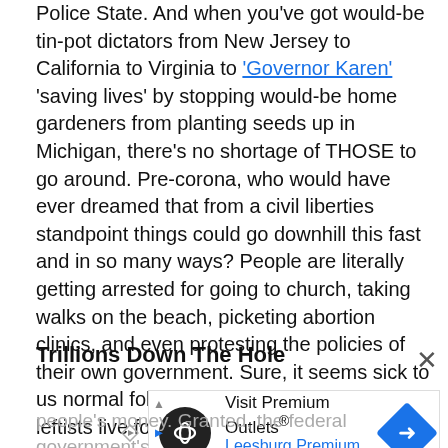Police State. And when you've got would-be tin-pot dictators from New Jersey to California to Virginia to 'Governor Karen' 'saving lives' by stopping would-be home gardeners from planting seeds up in Michigan, there's no shortage of THOSE to go around. Pre-corona, who would have ever dreamed that from a civil liberties standpoint things could go downhill this fast and in so many ways? People are literally getting arrested for going to church, taking walks on the beach, picketing abortion clinics, and even protesting the policies of their own government. Sure, it seems sick to us normal folks, but stuff like this is what leftists live for.
Trillions Down The Hole
[Figure (other): Advertisement banner for Visit Premium Outlets / Leesburg Premium Outlets with logo icon and directional arrow]
people's money. Granted, the federal government's